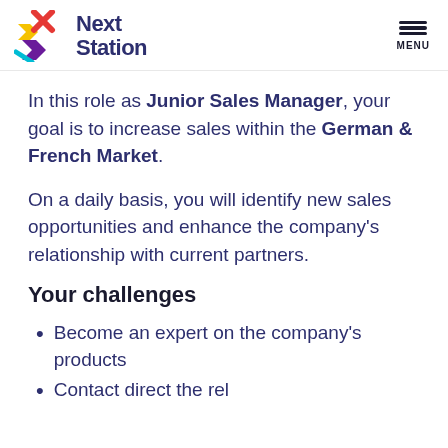Next Station | MENU
In this role as Junior Sales Manager, your goal is to increase sales within the German & French Market.
On a daily basis, you will identify new sales opportunities and enhance the company's relationship with current partners.
Your challenges
Become an expert on the company's products
Contact direct the rel...